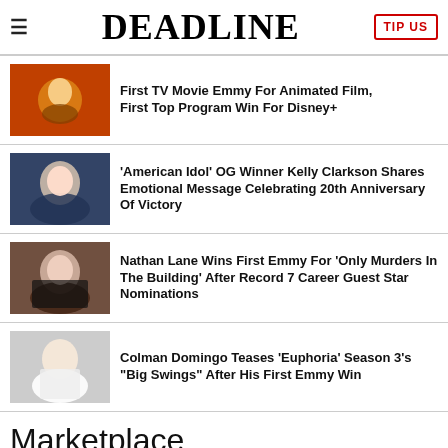DEADLINE
First TV Movie Emmy For Animated Film, First Top Program Win For Disney+
'American Idol' OG Winner Kelly Clarkson Shares Emotional Message Celebrating 20th Anniversary Of Victory
Nathan Lane Wins First Emmy For 'Only Murders In The Building' After Record 7 Career Guest Star Nominations
Colman Domingo Teases 'Euphoria' Season 3's "Big Swings" After His First Emmy Win
Marketplace